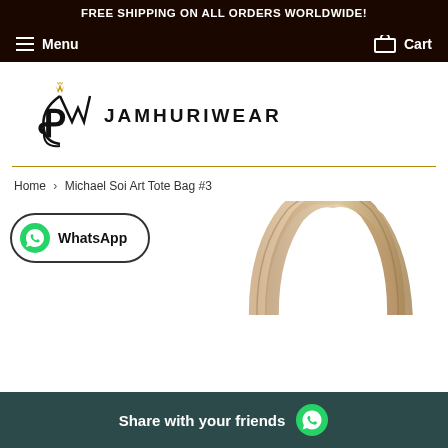FREE SHIPPING ON ALL ORDERS WORLDWIDE!
Menu  Cart
[Figure (logo): Jamhuriwear logo with stylized JW monogram and crown, next to text JAMHURIWEAR]
Home > Michael Soi Art Tote Bag #3
[Figure (photo): Top handles of a tote bag in beige/tan color, partially visible]
[Figure (other): WhatsApp button with green WhatsApp icon and text 'WhatsApp']
Share with your friends